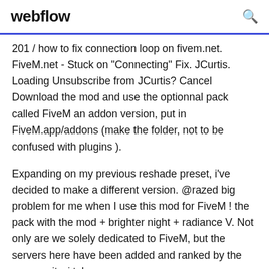webflow
201 / how to fix connection loop on fivem.net. FiveM.net - Stuck on "Connecting" Fix. JCurtis. Loading Unsubscribe from JCurtis? Cancel Download the mod and use the optionnal pack called FiveM an addon version, put in FiveM.app/addons (make the folder, not to be confused with plugins ).
Expanding on my previous reshade preset, i've decided to make a different version. @razed big problem for me when I use this mod for FiveM ! the pack with the mod + brighter night + radiance V. Not only are we solely dedicated to FiveM, but the servers here have been added and ranked by the community. i take a